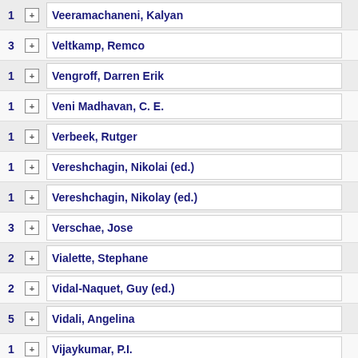1 [+] Veeramachaneni, Kalyan
3 [+] Veltkamp, Remco
1 [+] Vengroff, Darren Erik
1 [+] Veni Madhavan, C. E.
1 [+] Verbeek, Rutger
1 [+] Vereshchagin, Nikolai (ed.)
1 [+] Vereshchagin, Nikolay (ed.)
3 [+] Verschae, Jose
2 [+] Vialette, Stephane
2 [+] Vidal-Naquet, Guy (ed.)
5 [+] Vidali, Angelina
1 [+] Vijaykumar, P.I.
3 [+] Vilenchik, Dan
2 [-] Villanger, Yngve
2011 [Fomin, Fedor V.] Philip, Geevarghese [Villanger, Yngve]   Minimum Fill-in of Sparse Graphs: Kernelization and Approximation In: IARCS Annual   Proceedings Article